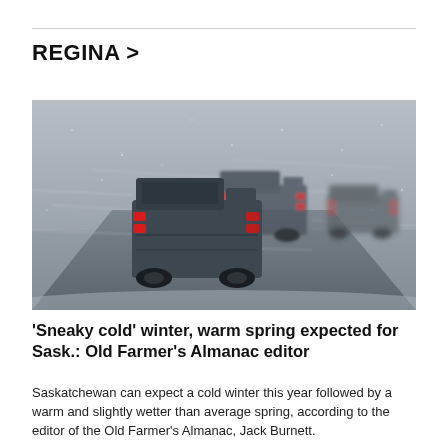REGINA >
[Figure (photo): Several pickup trucks driving on a snow-covered highway in blizzard conditions, seen from behind with red tail lights glowing through the blowing snow and reduced visibility.]
'Sneaky cold' winter, warm spring expected for Sask.: Old Farmer's Almanac editor
Saskatchewan can expect a cold winter this year followed by a warm and slightly wetter than average spring, according to the editor of the Old Farmer's Almanac, Jack Burnett.